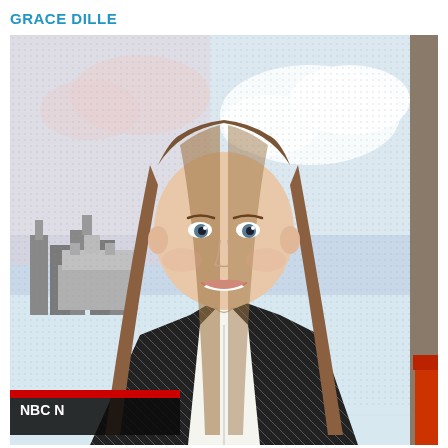GRACE DILLE
[Figure (photo): Headshot photo of Grace Dille, a young woman with long straight brown/blonde hair, smiling, wearing a black and white houndstooth blazer over a white top. Background shows an NBC News studio set with a cityscape backdrop featuring what appears to be Washington D.C. skyline. An NBC News lower-third graphic is partially visible at the bottom left.]